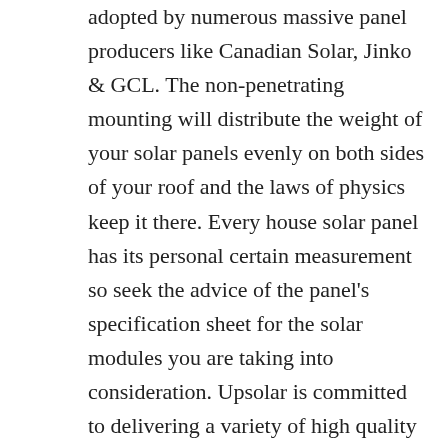adopted by numerous massive panel producers like Canadian Solar, Jinko & GCL. The non-penetrating mounting will distribute the weight of your solar panels evenly on both sides of your roof and the laws of physics keep it there. Every house solar panel has its personal certain measurement so seek the advice of the panel's specification sheet for the solar modules you are taking into consideration. Upsolar is committed to delivering a variety of high quality mono- and polycrystalline PV modules by way of their vertically integrated manufacturing platforms. Ballasted footing mounts, such as concrete or steel bases that use weight to safe the solar module system in position and do not demand ground penetration. Alternatively you can use our sliding or split jaw side mounts to create exterior side rails amongst your bimini's finish frames. The solar mounting method